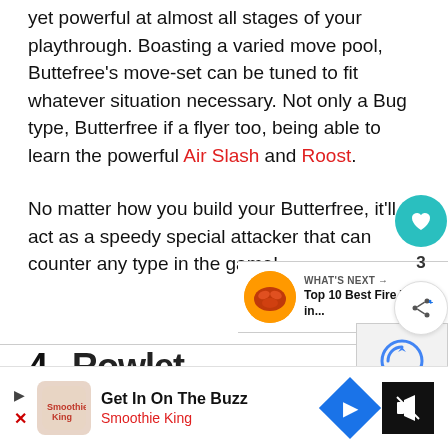yet powerful at almost all stages of your playthrough. Boasting a varied move pool, Buttefree's move-set can be tuned to fit whatever situation necessary. Not only a Bug type, Butterfree if a flyer too, being able to learn the powerful Air Slash and Roost.
No matter how you build your Butterfree, it'll act as a speedy special attacker that can counter any type in the game!
4. Rowlet